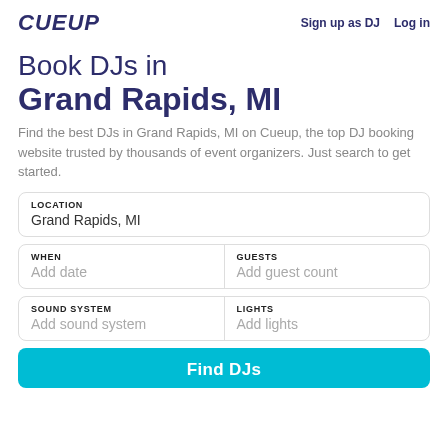CUEUP   Sign up as DJ   Log in
Book DJs in Grand Rapids, MI
Find the best DJs in Grand Rapids, MI on Cueup, the top DJ booking website trusted by thousands of event organizers. Just search to get started.
LOCATION
Grand Rapids, MI
WHEN
Add date
GUESTS
Add guest count
SOUND SYSTEM
Add sound system
LIGHTS
Add lights
Find DJs